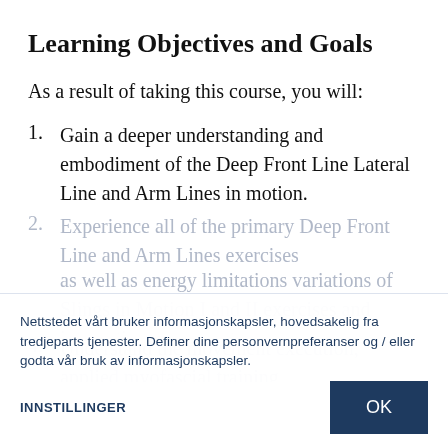Learning Objectives and Goals
As a result of taking this course, you will:
Gain a deeper understanding and embodiment of the Deep Front Line Lateral Line and Arm Lines in motion.
Experience all of the primary Deep Front Line and Arm Lines exercises as well as energy limitations
variations of Slings in Motion I and II exercises and integrative movement sequences
Understand the movement execution, applied myofascial training
Nettstedet vårt bruker informasjonskapsler, hovedsakelig fra tredjeparts tjenester. Definer dine personvernpreferanser og / eller godta vår bruk av informasjonskapsler.